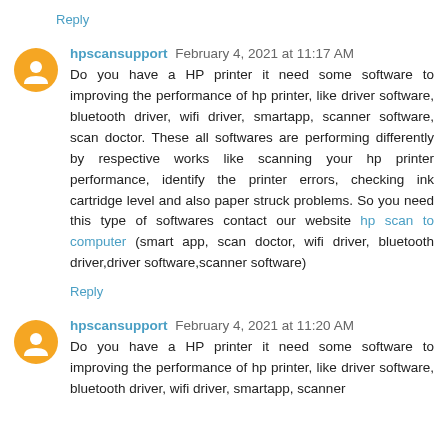Reply
hpscansupport February 4, 2021 at 11:17 AM
Do you have a HP printer it need some software to improving the performance of hp printer, like driver software, bluetooth driver, wifi driver, smartapp, scanner software, scan doctor. These all softwares are performing differently by respective works like scanning your hp printer performance, identify the printer errors, checking ink cartridge level and also paper struck problems. So you need this type of softwares contact our website hp scan to computer (smart app, scan doctor, wifi driver, bluetooth driver,driver software,scanner software)
Reply
hpscansupport February 4, 2021 at 11:20 AM
Do you have a HP printer it need some software to improving the performance of hp printer, like driver software, bluetooth driver, wifi driver, smartapp, scanner